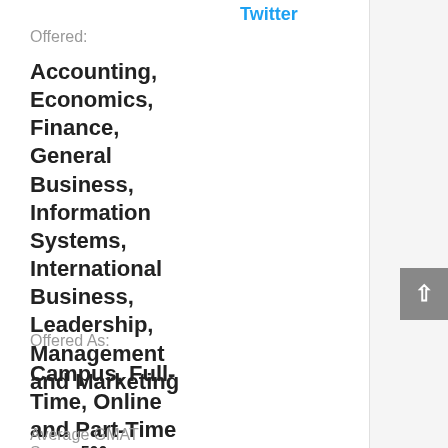Twitter
Offered:
Accounting, Economics, Finance, General Business, Information Systems, International Business, Leadership, Management and Marketing
Offered As:
Campus, Full-Time, Online and Part-Time
Average GMAT Score: 500